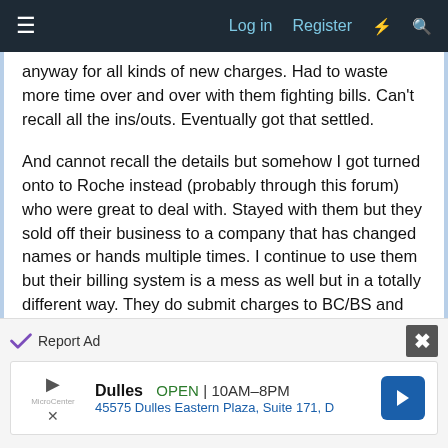Log in  Register
anyway for all kinds of new charges. Had to waste more time over and over with them fighting bills. Can't recall all the ins/outs. Eventually got that settled.

And cannot recall the details but somehow I got turned onto to Roche instead (probably through this forum) who were great to deal with. Stayed with them but they sold off their business to a company that has changed names or hands multiple times. I continue to use them but their billing system is a mess as well but in a totally different way. They do submit charges to BC/BS and get some $$ from them but the charges leftover to me have NEVER been billed to me, going on like 2 years now (??). I had called them multiple times about this but give up. Oh and during one of the latest company changes they did not
Report Ad  Dulles  OPEN  10AM–8PM  45575 Dulles Eastern Plaza, Suite 171, D